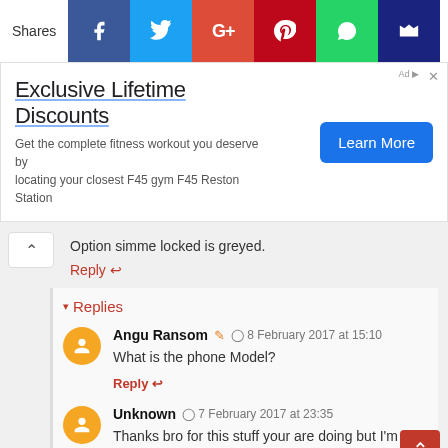[Figure (screenshot): Social share bar with Facebook, Twitter, Google+, Pinterest, WhatsApp, and crown icon buttons]
[Figure (screenshot): Advertisement banner: 'Exclusive Lifetime Discounts' with Learn More button for F45 gym]
Option simme locked is greyed.
Reply ↩
▾ Replies
Angu Ransom ✎ 🕐 8 February 2017 at 15:10
What is the phone Model?
Reply ↩
Unknown 🕐 7 February 2017 at 23:35
Thanks bro for this stuff your are doing but I'm having a problem with my winko Jerry phone,